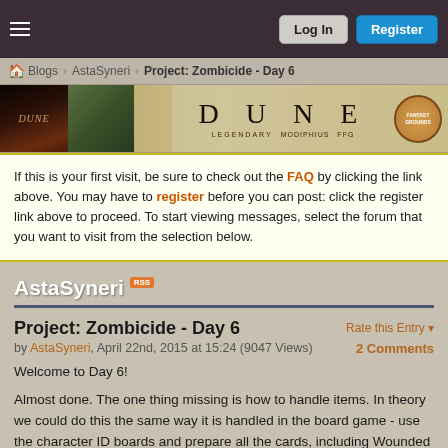Log In  Register
🏠 Blogs › AstaSyneri › Project: Zombicide - Day 6
[Figure (illustration): Dune board game banner with movie poster, sand bowl, and Dune logo with publisher logos: Legendary, Modiphius, FFG, Fantasy Grounds]
If this is your first visit, be sure to check out the FAQ by clicking the link above. You may have to register before you can post: click the register link above to proceed. To start viewing messages, select the forum that you want to visit from the selection below.
AstaSyneri
Project: Zombicide - Day 6
by AstaSyneri, April 22nd, 2015 at 15:24 (9047 Views)    2 Comments
Welcome to Day 6!

Almost done. The one thing missing is how to handle items. In theory we could do this the same way it is handled in the board game - use the character ID boards and prepare all the cards, including Wounded cards as tokens, so you can pull them onto the boards.